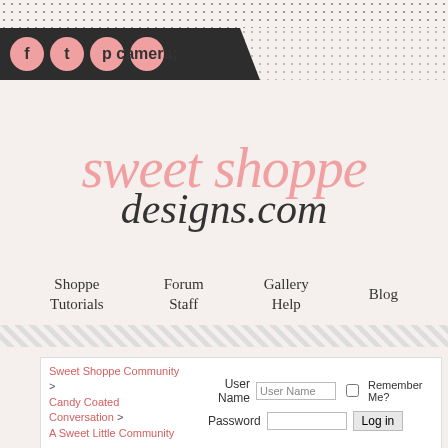[Figure (logo): Sweet Shoppe Designs social media icons bar with Facebook, Twitter, Pinterest, Instagram pink circle icons on black banner, dotted pattern background]
sweet shoppe designs.com
Shoppe Tutorials
Forum Staff
Gallery Help
Blog
Sweet Shoppe Community > Candy Coated Conversation > A Sweet Little Community
Facebook & Instagram
User Name | Password | Remember Me? | Log in